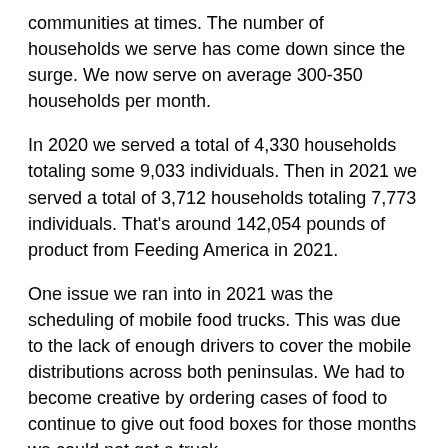communities at times. The number of households we serve has come down since the surge. We now serve on average 300-350 households per month.
In 2020 we served a total of 4,330 households totaling some 9,033 individuals. Then in 2021 we served a total of 3,712 households totaling 7,773 individuals. That's around 142,054 pounds of product from Feeding America in 2021.
One issue we ran into in 2021 was the scheduling of mobile food trucks. This was due to the lack of enough drivers to cover the mobile distributions across both peninsulas. We had to become creative by ordering cases of food to continue to give out food boxes for those months we could not get a truck.
So who pays for the food and trucks to come?